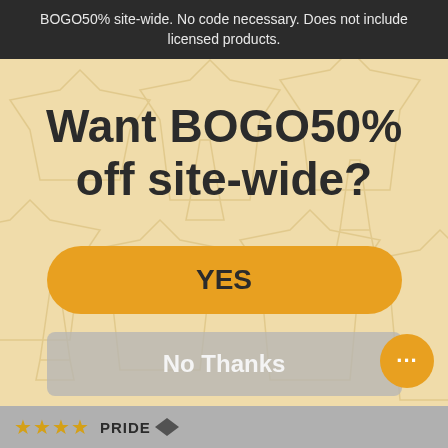BOGO50% site-wide. No code necessary. Does not include licensed products.
Want BOGO50% off site-wide?
YES
No Thanks
★★★★ PRIDE